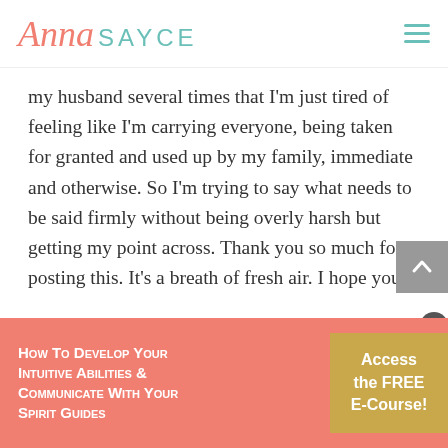Anna SAYCE
my husband several times that I'm just tired of feeling like I'm carrying everyone, being taken for granted and used up by my family, immediate and otherwise. So I'm trying to say what needs to be said firmly without being overly harsh but getting my point across. Thank you so much for posting this. It's a breath of fresh air. I hope you're doing well. Love and light!
This website uses cookies to improve your experience. We'll
How to Develop your Intuitive Abilities & Communicate with your Spirit Guides
Access the FREE E-Course!